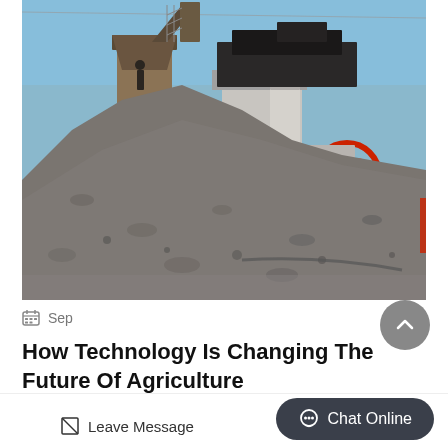[Figure (photo): Industrial aggregate/gravel crushing facility with large pile of crushed stone/gravel in the foreground. Heavy machinery including what appears to be a jaw crusher with a red flywheel visible on the right side, and a conveyor/hopper structure on the left. Blue sky in the background. A worker visible on the upper left near the machinery.]
Sep
How Technology Is Changing The Future Of Agriculture
Leave Message
Chat Online